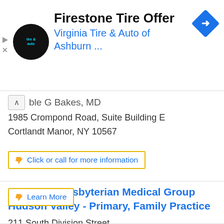[Figure (logo): Firestone Tire & Auto advertisement banner with circular logo, title 'Firestone Tire Offer', subtitle 'Virginia Tire & Auto of Ashburn ...', blue navigation icon top right]
ble G Bakes, MD
1985 Crompond Road, Suite Building E
Cortlandt Manor, NY 10567
Click or call for more information
NewYork-Presbyterian Medical Group Hudson Valley - Primary, Family Practice
211 South Division Street
Peekskill, NY 10566
Learn More